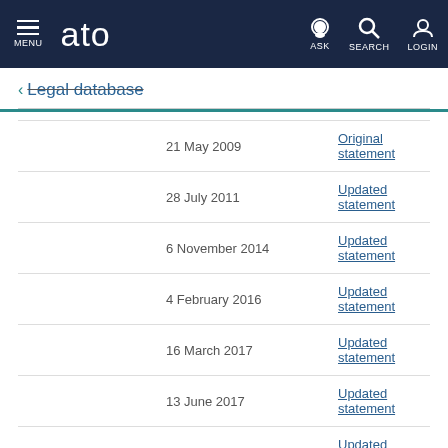MENU | ato | ASK | SEARCH | LOGIN
← Legal database
|  | Date | Link |
| --- | --- | --- |
|  | 21 May 2009 | Original statement |
|  | 28 July 2011 | Updated statement |
|  | 6 November 2014 | Updated statement |
|  | 4 February 2016 | Updated statement |
|  | 16 March 2017 | Updated statement |
|  | 13 June 2017 | Updated statement |
|  | 6 June 2019 | Updated statement |
| You are here | 6 May 2020 | Updated statement |